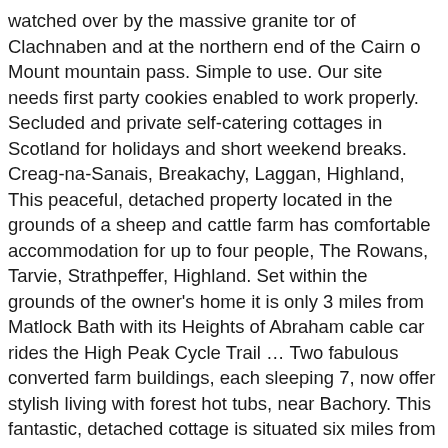watched over by the massive granite tor of Clachnaben and at the northern end of the Cairn o Mount mountain pass. Simple to use. Our site needs first party cookies enabled to work properly. Secluded and private self-catering cottages in Scotland for holidays and short weekend breaks. Creag-na-Sanais, Breakachy, Laggan, Highland, This peaceful, detached property located in the grounds of a sheep and cattle farm has comfortable accommodation for up to four people, The Rowans, Tarvie, Strathpeffer, Highland. Set within the grounds of the owner's home it is only 3 miles from Matlock Bath with its Heights of Abraham cable car rides the High Peak Cycle Trail … Two fabulous converted farm buildings, each sleeping 7, now offer stylish living with forest hot tubs, near Bachory. This fantastic, detached cottage is situated six miles from Castle Douglas in Scotland, and can sleep four people in two bedrooms. A modern detached secluded property ten miles from Kilmartin in Argyll and Bute in Scotland, it can sleep ten people in five bedrooms. Steeped in legend and history, Scotland is a dramatic and rugged destination with a coastline